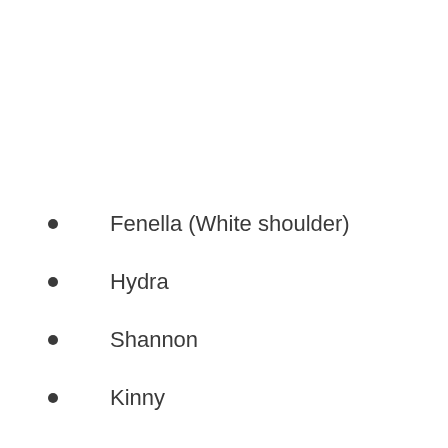Fenella (White shoulder)
Hydra
Shannon
Kinny
Cora
Dina
Dixie
Molly
Brenda
Lassie
Isobel (My God is an oath)
Ada